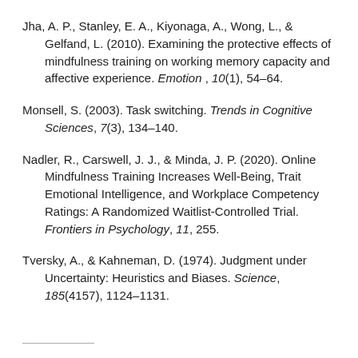Jha, A. P., Stanley, E. A., Kiyonaga, A., Wong, L., & Gelfand, L. (2010). Examining the protective effects of mindfulness training on working memory capacity and affective experience. Emotion, 10(1), 54–64.
Monsell, S. (2003). Task switching. Trends in Cognitive Sciences, 7(3), 134–140.
Nadler, R., Carswell, J. J., & Minda, J. P. (2020). Online Mindfulness Training Increases Well-Being, Trait Emotional Intelligence, and Workplace Competency Ratings: A Randomized Waitlist-Controlled Trial. Frontiers in Psychology, 11, 255.
Tversky, A., & Kahneman, D. (1974). Judgment under Uncertainty: Heuristics and Biases. Science, 185(4157), 1124–1131.